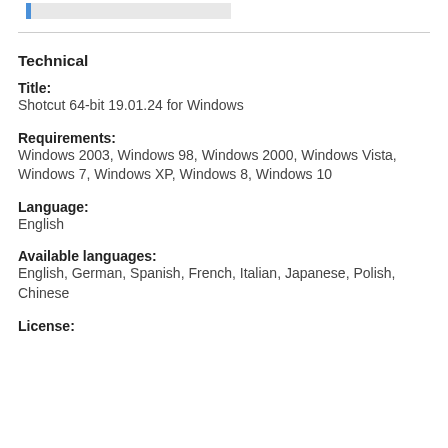Technical
Title:
Shotcut 64-bit 19.01.24 for Windows
Requirements:
Windows 2003, Windows 98, Windows 2000, Windows Vista, Windows 7, Windows XP, Windows 8, Windows 10
Language:
English
Available languages:
English, German, Spanish, French, Italian, Japanese, Polish, Chinese
License: